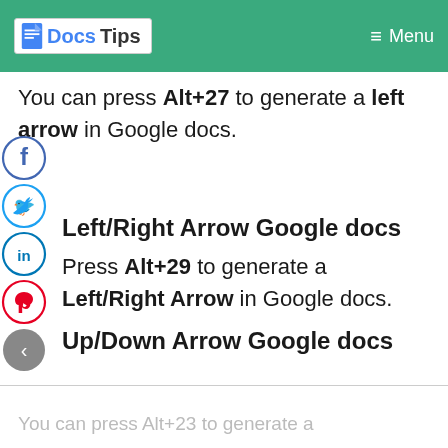Docs Tips  ≡ Menu
You can press Alt+27 to generate a left arrow in Google docs.
Left/Right Arrow Google docs
Press Alt+29 to generate a Left/Right Arrow in Google docs.
Up/Down Arrow Google docs
You can press Alt+23 to generate a